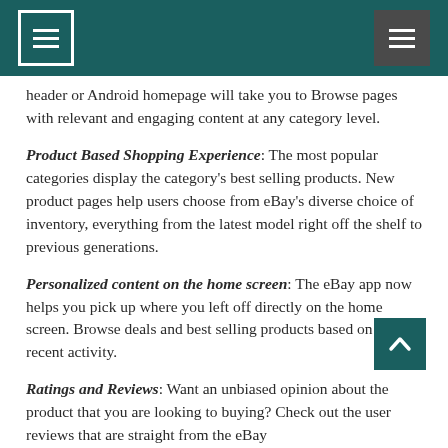[Navigation header bar with menu icons]
header or Android homepage will take you to Browse pages with relevant and engaging content at any category level.
Product Based Shopping Experience: The most popular categories display the category's best selling products. New product pages help users choose from eBay's diverse choice of inventory, everything from the latest model right off the shelf to previous generations.
Personalized content on the home screen: The eBay app now helps you pick up where you left off directly on the home screen. Browse deals and best selling products based on your recent activity.
Ratings and Reviews: Want an unbiased opinion about the product that you are looking to buying? Check out the user reviews that are straight from the eBay